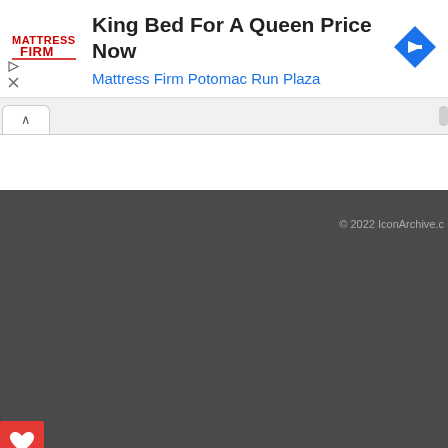[Figure (screenshot): Advertisement banner for Mattress Firm showing logo, headline 'King Bed For A Queen Price Now', subtext 'Mattress Firm Potomac Run Plaza', and a blue navigation arrow icon on the right. Play and close icons on the left side.]
[Figure (screenshot): Browser tab bar showing an active white tab with an up-caret chevron icon, and a scrollbar track on the right side.]
[Figure (screenshot): Dark gray page background section with copyright text '© 2022 IconArchive.c' visible in upper right, and a red heart/favorites button in the bottom left corner.]